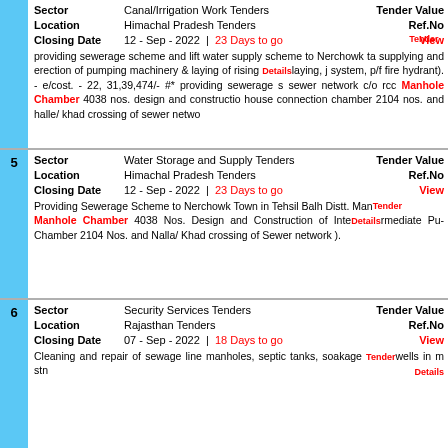| Field | Value | Right Field | Right Value |
| --- | --- | --- | --- |
| Sector | Canal/Irrigation Work Tenders | Tender Value |  |
| Location | Himachal Pradesh Tenders | Ref.No |  |
| Closing Date | 12 - Sep - 2022 | 23 Days to go | View |  |
| Description | providing sewerage scheme and lift water supply scheme to Nerchowk ta supplying and erection of pumping machinery & laying of rising and laying, j system, p/f fire hydrant). - e/cost. - 22, 31,39,474/- #* providing sewerage s sewer network c/o rcc Manhole Chamber 4038 nos. design and constructio house connection chamber 2104 nos. and halle/ khad crossing of sewer netwo |  |  |
| Field | Value | Right Field | Right Value |
| --- | --- | --- | --- |
| 5 |  |  |  |
| Sector | Water Storage and Supply Tenders | Tender Value |  |
| Location | Himachal Pradesh Tenders | Ref.No |  |
| Closing Date | 12 - Sep - 2022 | 23 Days to go | View |  |
| Description | Providing Sewerage Scheme to Nerchowk Town in Tehsil Balh Distt. Man Manhole Chamber 4038 Nos. Design and Construction of Intermediate Pum Chamber 2104 Nos. and Nalla/ Khad crossing of Sewer network ). |  |  |
| Field | Value | Right Field | Right Value |
| --- | --- | --- | --- |
| 6 |  |  |  |
| Sector | Security Services Tenders | Tender Value |  |
| Location | Rajasthan Tenders | Ref.No |  |
| Closing Date | 07 - Sep - 2022 | 18 Days to go | View |  |
| Description | Cleaning and repair of sewage line manholes, septic tanks, soakage wells in m stn |  |  |